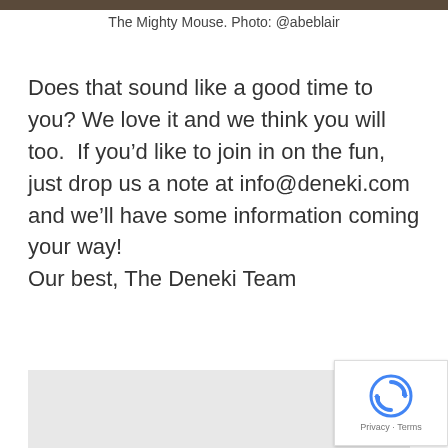[Figure (photo): Cropped photo strip at top of page, dark brownish tones]
The Mighty Mouse. Photo: @abeblair
Does that sound like a good time to you? We love it and we think you will too.  If you’d like to join in on the fun, just drop us a note at info@deneki.com and we’ll have some information coming your way!
Our best, The Deneki Team
[Figure (screenshot): Gray box section at the bottom, partially visible content area with reCAPTCHA badge in bottom right corner]